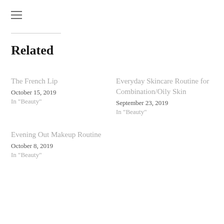≡
Related
The French Lip
October 15, 2019
In "Beauty"
Everyday Skincare Routine for Combination/Oily Skin
September 23, 2019
In "Beauty"
Evening Out Makeup Routine
October 8, 2019
In "Beauty"